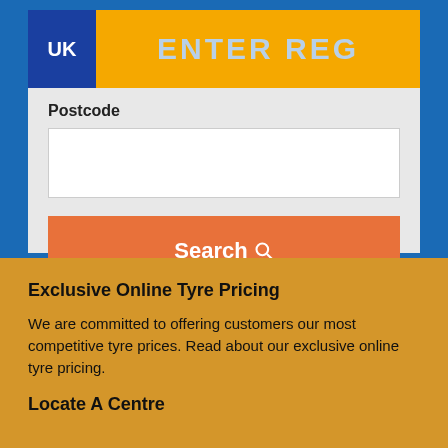UK  ENTER REG
Postcode
[Figure (screenshot): Empty postcode text input field]
Search
Please enter your postcode to see availability information from your local Kwik Fit centre.
Exclusive Online Tyre Pricing
We are committed to offering customers our most competitive tyre prices. Read about our exclusive online tyre pricing.
Locate A Centre